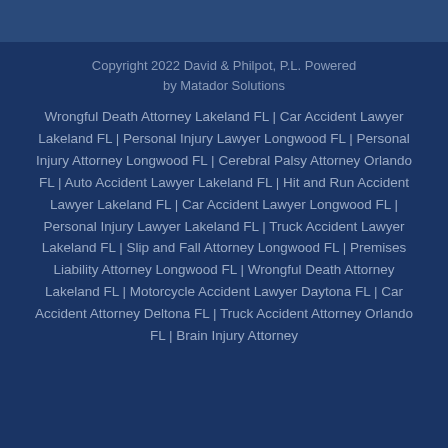Copyright 2022 David & Philpot, P.L. Powered by Matador Solutions
Wrongful Death Attorney Lakeland FL | Car Accident Lawyer Lakeland FL | Personal Injury Lawyer Longwood FL | Personal Injury Attorney Longwood FL | Cerebral Palsy Attorney Orlando FL | Auto Accident Lawyer Lakeland FL | Hit and Run Accident Lawyer Lakeland FL | Car Accident Lawyer Longwood FL | Personal Injury Lawyer Lakeland FL | Truck Accident Lawyer Lakeland FL | Slip and Fall Attorney Longwood FL | Premises Liability Attorney Longwood FL | Wrongful Death Attorney Lakeland FL | Motorcycle Accident Lawyer Daytona FL | Car Accident Attorney Deltona FL | Truck Accident Attorney Orlando FL | Brain Injury Attorney